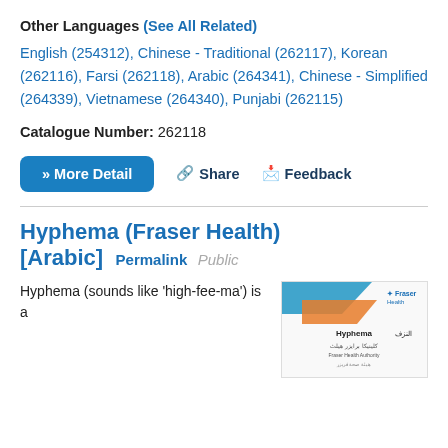Other Languages (See All Related)
English (254312), Chinese - Traditional (262117), Korean (262116), Farsi (262118), Arabic (264341), Chinese - Simplified (264339), Vietnamese (264340), Punjabi (262115)
Catalogue Number: 262118
» More Detail   🔗 Share   🗨 Feedback
Hyphema (Fraser Health) [Arabic] Permalink Public
Hyphema (sounds like 'high-fee-ma') is a
[Figure (illustration): Thumbnail image of the Hyphema Fraser Health Arabic language pamphlet showing Fraser Health logo and Arabic text]